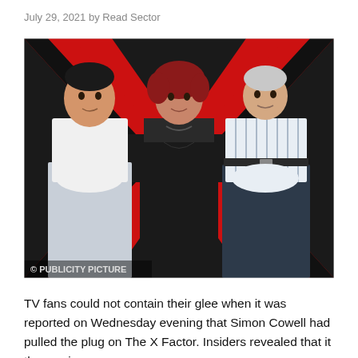July 29, 2021 by Read Sector
[Figure (photo): Three people posing in front of a red, black and white X Factor logo backdrop. On the left is a man in a white t-shirt and jeans with arms crossed; in the centre is a woman with short red hair wearing a black outfit; on the right is an older man in a striped shirt. A watermark reads: © PUBLICITY PICTURE]
TV fans could not contain their glee when it was reported on Wednesday evening that Simon Cowell had pulled the plug on The X Factor. Insiders revealed that it the music